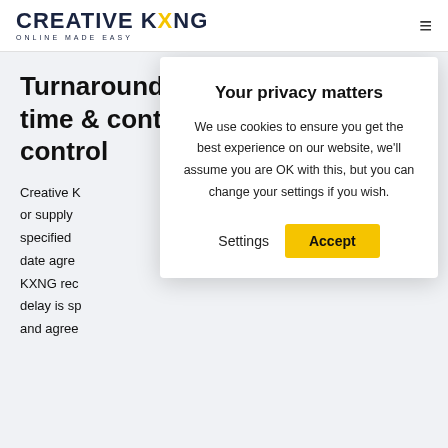CREATIVE KXNG ONLINE MADE EASY
Turnaround time & content control
Creative K or supply specified date agre KXNG rec delay is sp and agree
[Figure (screenshot): Cookie consent modal dialog with title 'Your privacy matters', body text about cookies, and Settings and Accept buttons]
In return, the client agrees to delegate a